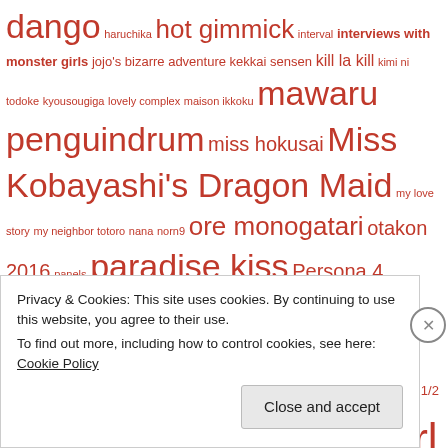dango haruchika hot gimmick interval interviews with monster girls jojo's bizarre adventure kekkai sensen kill la kill kimi ni todoke kyousougiga lovely complex maison ikkoku mawaru penguindrum miss hokusai Miss Kobayashi's Dragon Maid my love story my neighbor totoro nana norn9 ore monogatari otakon 2016 panels paradise kiss Persona 4 please tell me! galko-chan princess jellyfish princess mononoke ranma 1/2 rape read or die Revolutionary Girl Utena rie matsumoto sailor moon sakura con sakura con 2016 sayo yamamoto sekko boys shirobako showa genroku rakugo shinjuu Snow
Privacy & Cookies: This site uses cookies. By continuing to use this website, you agree to their use.
To find out more, including how to control cookies, see here: Cookie Policy
Close and accept